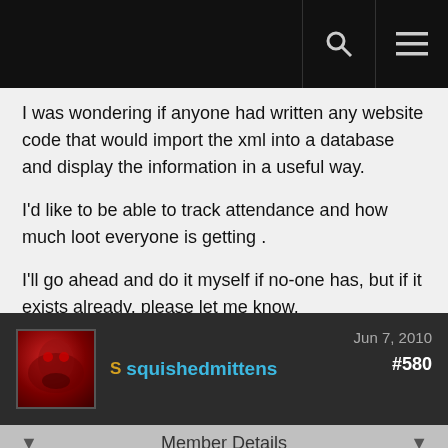I was wondering if anyone had written any website code that would import the xml into a database and display the information in a useful way.

I'd like to be able to track attendance and how much loot everyone is getting .

I'll go ahead and do it myself if no-one has, but if it exists already, please let me know.
squishedmittens  Jun 7, 2010  #580
Member Details
Quote from ZarlockSinstralis
For Sindragosa / Putricide encounter, the boss are tagged as "elite" and not "boss" like DeathWhisper.